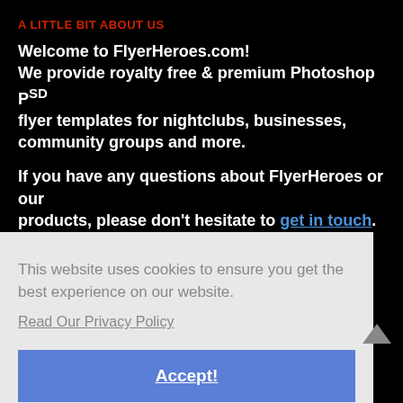A LITTLE BIT ABOUT US
Welcome to FlyerHeroes.com! We provide royalty free & premium Photoshop PSD flyer templates for nightclubs, businesses, community groups and more.

If you have any questions about FlyerHeroes or our products, please don't hesitate to get in touch.
This website uses cookies to ensure you get the best experience on our website.
Read Our Privacy Policy
Accept!